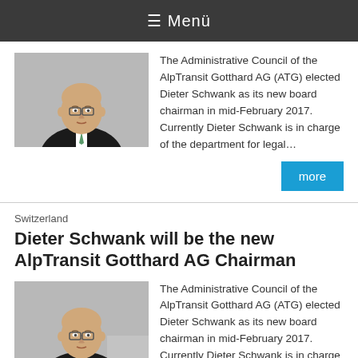≡ Menü
[Figure (photo): Portrait photo of Dieter Schwank, a bald man in a dark suit with a light tie, against a grey background.]
The Administrative Council of the AlpTransit Gotthard AG (ATG) elected Dieter Schwank as its new board chairman in mid-February 2017. Currently Dieter Schwank is in charge of the department for legal...
more
Switzerland
Dieter Schwank will be the new AlpTransit Gotthard AG Chairman
[Figure (photo): Portrait photo of Dieter Schwank, a bald man in a dark suit with a light tie, against a grey background.]
The Administrative Council of the AlpTransit Gotthard AG (ATG) elected Dieter Schwank as its new board chairman in mid-February 2017. Currently Dieter Schwank is in charge of the department for legal...